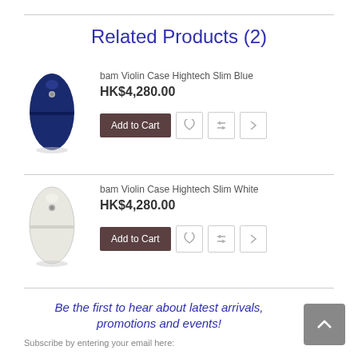Related Products (2)
bam Violin Case Hightech Slim Blue
HK$4,280.00
bam Violin Case Hightech Slim White
HK$4,280.00
Be the first to hear about latest arrivals, promotions and events!
Subscribe by entering your email here: